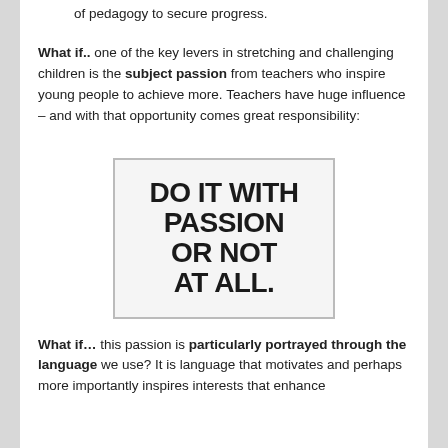learning, plan lessons, activities and other elements of pedagogy to secure progress.
What if.. one of the key levers in stretching and challenging children is the subject passion from teachers who inspire young people to achieve more. Teachers have huge influence – and with that opportunity comes great responsibility:
[Figure (illustration): A motivational quote box with bold uppercase text reading: DO IT WITH PASSION OR NOT AT ALL.]
What if… this passion is particularly portrayed through the language we use? It is language that motivates and perhaps more importantly inspires interests that enhance